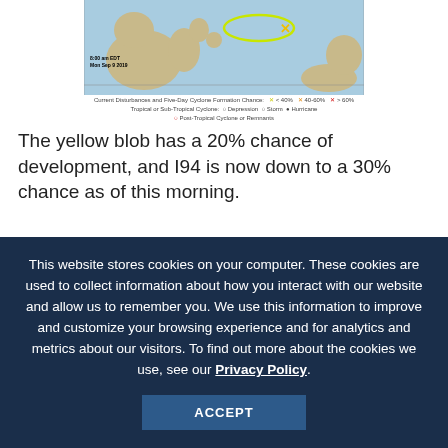[Figure (map): NHC Atlantic tropical weather outlook map showing current disturbances and five-day cyclone formation chances. A yellow blob is visible in the Atlantic with a marker. Legend shows probability categories: < 40% (yellow X), 40-60% (orange X), > 60% (red X). Tropical or Sub-Tropical Cyclone types: Depression (open circle), Storm (open circle), Hurricane (filled circle), Post-Tropical Cyclone or Remnants (red open circle). Timestamp: 8:00 am EDT Mon Sep 9 2019.]
Current Disturbances and Five-Day Cyclone Formation Chance: < 40%  40-60%  > 60%
Tropical or Sub-Tropical Cyclone: Depression  Storm  Hurricane
Post-Tropical Cyclone or Remnants
The yellow blob has a 20% chance of development, and I94 is now down to a 30% chance as of this morning.
Let’s start with yellow. Yellow could be a tricky system. Many models like it crossing over Florida as rain and
This website stores cookies on your computer. These cookies are used to collect information about how you interact with our website and allow us to remember you. We use this information to improve and customize your browsing experience and for analytics and metrics about our visitors. To find out more about the cookies we use, see our Privacy Policy.
ACCEPT